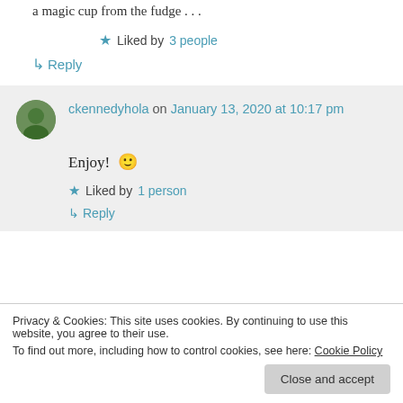a magic cup from the fudge . . .
Liked by 3 people
↳ Reply
ckennedyhola on January 13, 2020 at 10:17 pm
Enjoy! 🙂
Liked by 1 person
↳ Reply
Privacy & Cookies: This site uses cookies. By continuing to use this website, you agree to their use. To find out more, including how to control cookies, see here: Cookie Policy
Close and accept
years. I won't touch the slurpy stuff anymore. My